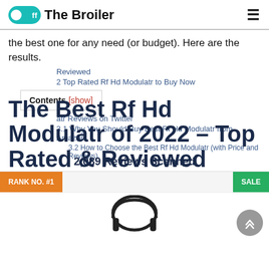Off The Broiler
the best one for any need (or budget). Here are the results.
Reviewed
2 Top Rated Rf Hd Modulatr to Buy Now
atr Reviews on Twitter
3.1 Why You Should Buy Best Rf Hd Modulatr from Amazon
3.2 How to Choose the Best Rf Hd Modulatr (with Price and Reviews)
The Best Rf Hd Modulatr of 2022 – Top Rated & Reviewed
2,089 Reviews Scanned
RANK NO. #1
SALE
[Figure (photo): Headphones product image at the bottom of the page]